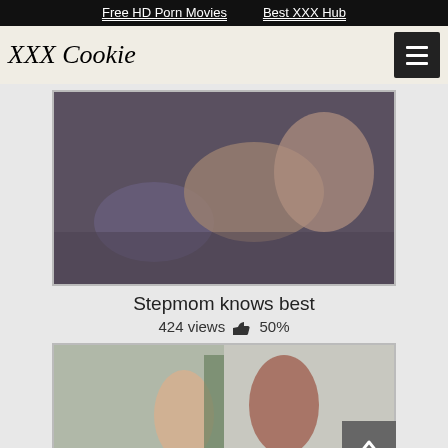Free HD Porn Movies   Best XXX Hub
XXX Cookie
[Figure (photo): Video thumbnail showing adult content scene]
Stepmom knows best
424 views 👍 50%
[Figure (photo): Second video thumbnail showing two people]